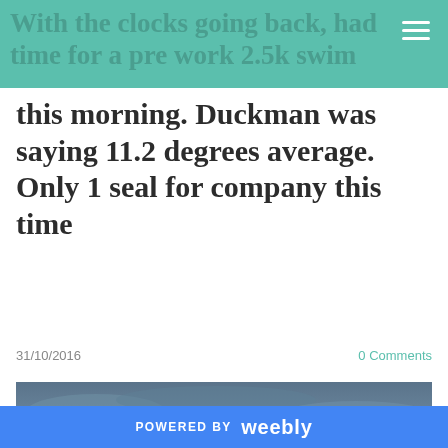With the clocks going back, had time for a pre work 2.5k swim this morning. Duckman was saying 11.2 degrees average. Only 1 seal for company this time
this morning. Duckman was saying 11.2 degrees average. Only 1 seal for company this time
31/10/2016
0 Comments
[Figure (photo): Beach scene at dusk/dawn with calm water, sandy shore, and distant headland under cloudy blue-grey sky]
POWERED BY weebly